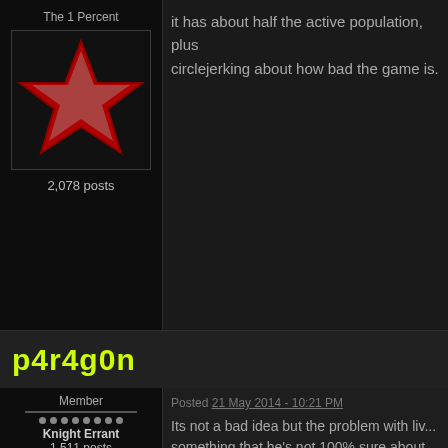it has about half the active population, plus circlejerking about how bad the game is.
[Figure (illustration): Red star logo on black background labeled 'The 1 Percent', with 2,078 posts]
p4r4g0n
[Figure (illustration): Dark silhouette figure avatar for Member 'p4r4g0n', Knight Errant, 1,511 posts, Location Malaysia]
Posted 21 May 2014 - 10:21 PM
Its not a bad idea but the problem with liv... something that he's not 100% sure about
1. "I'll check and get back to you on that"
2. *some answer* which turns out to be w...
I still prefer an open ended thread like Ka... instead of being under pressure to provid...